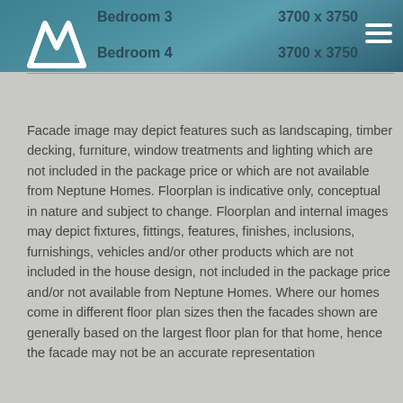Bedroom 3   3700 x 3750
Bedroom 4   3700 x 3750
Facade image may depict features such as landscaping, timber decking, furniture, window treatments and lighting which are not included in the package price or which are not available from Neptune Homes. Floorplan is indicative only, conceptual in nature and subject to change. Floorplan and internal images may depict fixtures, fittings, features, finishes, inclusions, furnishings, vehicles and/or other products which are not included in the house design, not included in the package price and/or not available from Neptune Homes. Where our homes come in different floor plan sizes then the facades shown are generally based on the largest floor plan for that home, hence the facade may not be an accurate representation